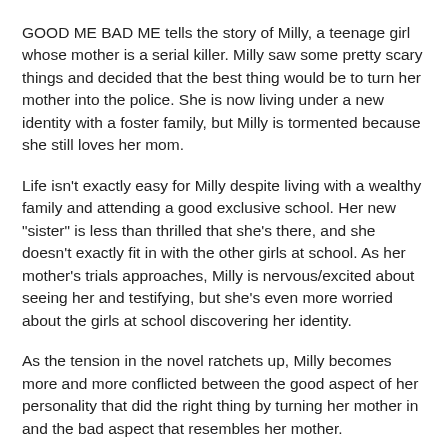GOOD ME BAD ME tells the story of Milly, a teenage girl whose mother is a serial killer. Milly saw some pretty scary things and decided that the best thing would be to turn her mother into the police. She is now living under a new identity with a foster family, but Milly is tormented because she still loves her mom.
Life isn't exactly easy for Milly despite living with a wealthy family and attending a good exclusive school. Her new "sister" is less than thrilled that she's there, and she doesn't exactly fit in with the other girls at school. As her mother's trials approaches, Milly is nervous/excited about seeing her and testifying, but she's even more worried about the girls at school discovering her identity.
As the tension in the novel ratchets up, Milly becomes more and more conflicted between the good aspect of her personality that did the right thing by turning her mother in and the bad aspect that resembles her mother.
Sounds pretty good, right? And GOOD ME BAD ME is